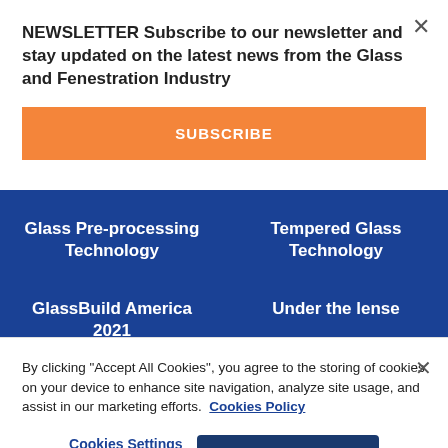NEWSLETTER Subscribe to our newsletter and stay updated on the latest news from the Glass and Fenestration Industry
SUBSCRIBE
Glass Pre-processing Technology
Tempered Glass Technology
GlassBuild America 2021
Under the lense
By clicking "Accept All Cookies", you agree to the storing of cookies on your device to enhance site navigation, analyze site usage, and assist in our marketing efforts. Cookies Policy
Cookies Settings
Accept All Cookies